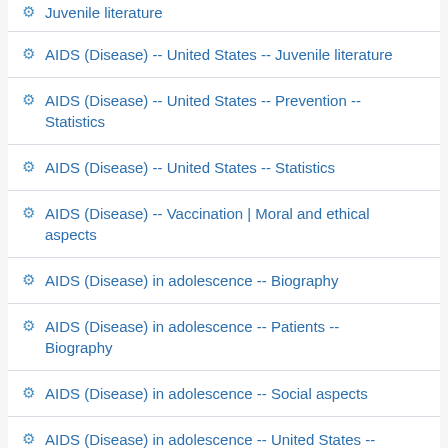AIDS (Disease) -- United States -- Juvenile literature
AIDS (Disease) -- United States -- Juvenile literature
AIDS (Disease) -- United States -- Prevention -- Statistics
AIDS (Disease) -- United States -- Statistics
AIDS (Disease) -- Vaccination | Moral and ethical aspects
AIDS (Disease) in adolescence -- Biography
AIDS (Disease) in adolescence -- Patients -- Biography
AIDS (Disease) in adolescence -- Social aspects
AIDS (Disease) in adolescence -- United States -- Statistics | Periodicals
AIDS (Disease) in children